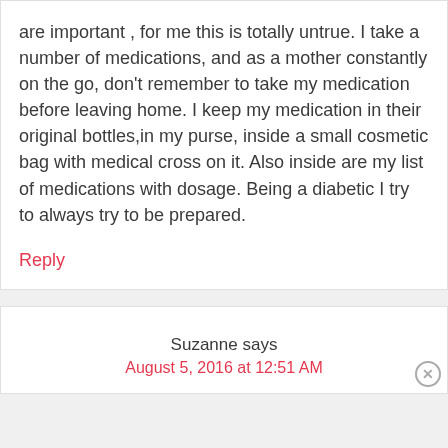are important , for me this is totally untrue. I take a number of medications, and as a mother constantly on the go, don't remember to take my medication before leaving home. I keep my medication in their original bottles,in my purse, inside a small cosmetic bag with medical cross on it. Also inside are my list of medications with dosage. Being a diabetic I try to always try to be prepared.
Reply
Suzanne says
August 5, 2016 at 12:51 AM